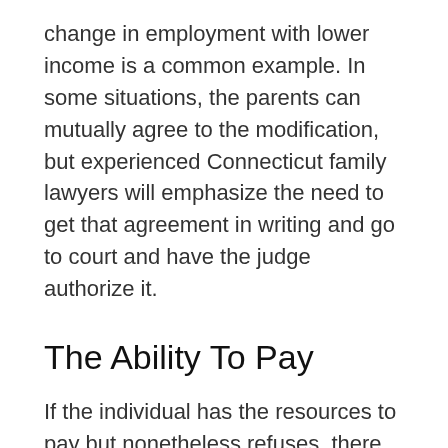change in employment with lower income is a common example. In some situations, the parents can mutually agree to the modification, but experienced Connecticut family lawyers will emphasize the need to get that agreement in writing and go to court and have the judge authorize it.
The Ability To Pay
If the individual has the resources to pay but nonetheless refuses, there are several legal sanctions that may be taken:
Wage garnishment: This action withholds a certain percentage of the wage earner's